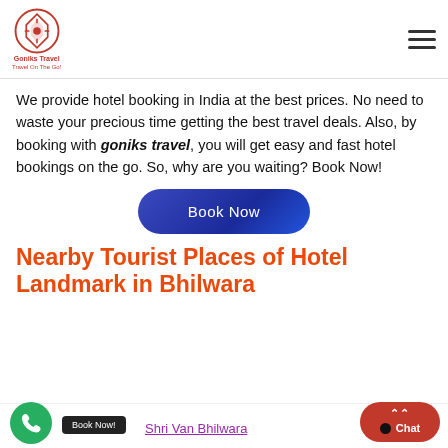Goniks Travel logo and navigation
We provide hotel booking in India at the best prices. No need to waste your precious time getting the best travel deals. Also, by booking with goniks travel, you will get easy and fast hotel bookings on the go. So, why are you waiting? Book Now!
[Figure (other): Book Now button - rounded rectangular button with blue gradient background and white text reading 'Book Now']
Nearby Tourist Places of Hotel Landmark in Bhilwara
Shri Van Bhilwara